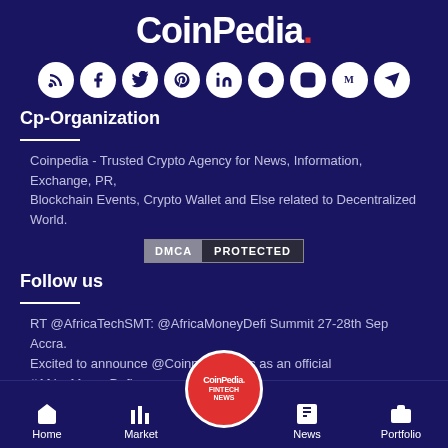CoinPedia.
[Figure (illustration): Row of 9 social media icons (RSS, Facebook, Twitter, Pinterest, LinkedIn, Reddit, Instagram, Medium, Telegram) displayed as white circles on dark blue background]
Cp-Organization
Coinpedia - Trusted Crypto Agency for News, Information, Exchange, PR, Blockchain Events, Crypto Wallet and Else related to Decentralized World.
[Figure (other): DMCA PROTECTED badge]
Follow us
RT @AfricaTechSMT: @AfricaMoneyDefi Summit 27-28th Sep Accra. Excited to announce @CoinpediaNews as an official #AfricaMoneyDefi Summit med…
2022/08/20
Home | Market | CoinPedia FINTECH NEWS | News | Portfolio